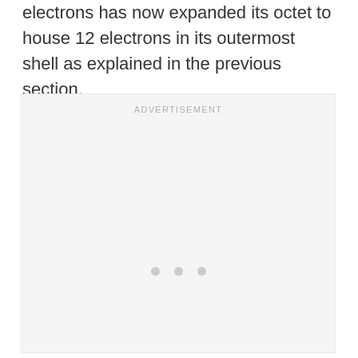electrons has now expanded its octet to house 12 electrons in its outermost shell as explained in the previous section.
[Figure (other): Advertisement placeholder box with 'ADVERTISEMENT' label at top and three loading dots in the center]